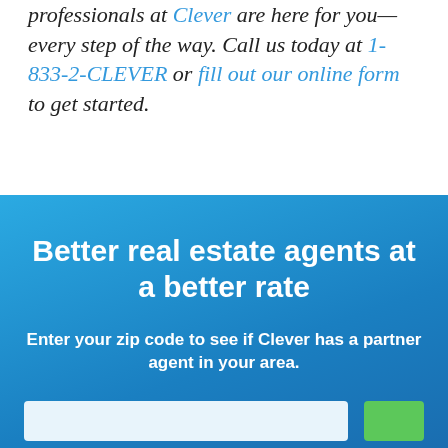professionals at Clever are here for you—every step of the way. Call us today at 1-833-2-CLEVER or fill out our online form to get started.
Better real estate agents at a better rate
Enter your zip code to see if Clever has a partner agent in your area.